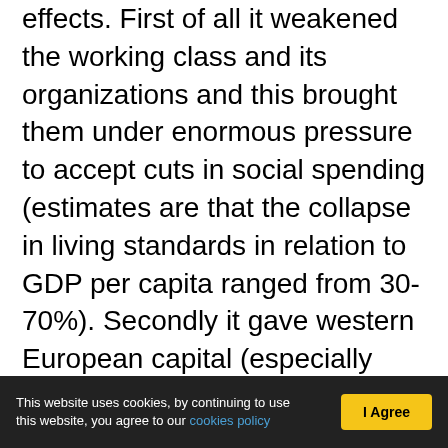effects. First of all it weakened the working class and its organizations and this brought them under enormous pressure to accept cuts in social spending (estimates are that the collapse in living standards in relation to GDP per capita ranged from 30-70%). Secondly it gave western European capital (especially German and Austrian) new fields of investment in Eastern Europe. This took place on a massive scale and without any resistance from the bureaucracy and the nascent local bourgeoisie. The big banks, insurance companies, telecom monopolies and key industries are today nearly all in the hands of German or Austrian companies. (The US could secure only a relatively small part of the cake.)
This website uses cookies, by continuing to use this website, you agree to our cookies policy  |  I Agree